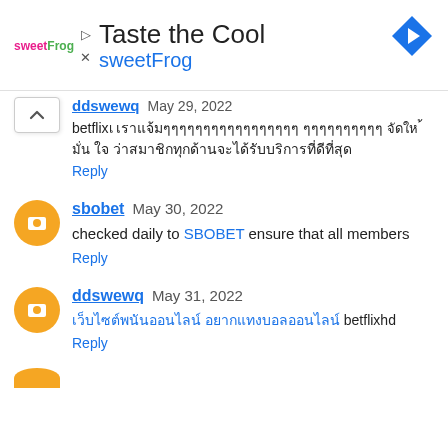[Figure (other): sweetFrog advertisement banner with logo, 'Taste the Cool' title, sweetFrog subtitle, and a navigation arrow icon]
ddswewq May 29, 2022
betflixเ เรามีการตรวจสอบ เนื้อหาทุกวัน เพื่อ ให้ มั่น ใจ ว่าสมาชิกทุกด้านจะได้รับบริการที่ดีที่สุด
sbobet May 30, 2022
checked daily to SBOBET ensure that all members
ddswewq May 31, 2022
เว็บไซต์พนันออนไลน์ อยากแทงบอลออนไลน์ betflixhd